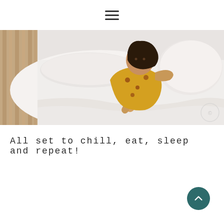≡ (hamburger menu icon)
[Figure (photo): A child in a yellow floral dress lying on a white bed with white pillows and bedding. A wooden headboard is visible on the left. The scene appears to be a hotel or bedroom setting.]
All set to chill, eat, sleep and repeat!